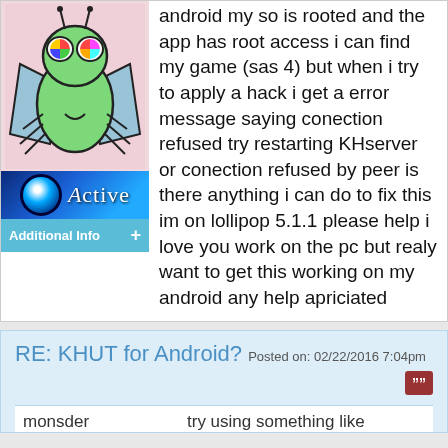[Figure (illustration): Green cartoon bug/alien character avatar on pink background]
[Figure (screenshot): Dark blue banner with glowing circle and text 'Active']
Additional Info +
android my so is rooted and the app has root access i can find my game (sas 4) but when i try to apply a hack i get a error message saying conection refused try restarting KHserver or conection refused by peer is there anything i can do to fix this im on lollipop 5.1.1 please help i love you work on the pc but realy want to get this working on my android any help apriciated
RE: KHUT for Android? Posted on: 02/22/2016 7:04pm
monsder
try using something like